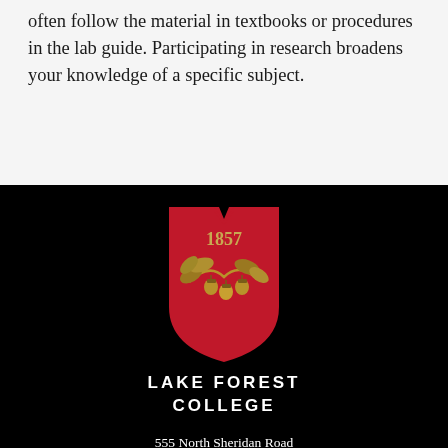often follow the material in textbooks or procedures in the lab guide. Participating in research broadens your knowledge of a specific subject.
[Figure (logo): Lake Forest College shield logo: red shield with notched top, gold oak branch with acorns and the year 1857 in red text on the shield]
LAKE FOREST COLLEGE
555 North Sheridan Road
Lake Forest, Illinois 60045
847-234-3100
Admissions: 847-735-5000